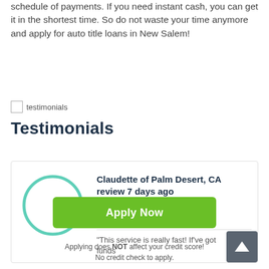schedule of payments. If you need instant cash, you can get it in the shortest time. So do not waste your time anymore and apply for auto title loans in New Salem!
[Figure (illustration): Small broken image icon labeled 'testimonials']
Testimonials
Claudette of Palm Desert, CA review 7 days ago — 4.8/5 stars — "This service is really fast! If've got funds..."
Apply Now
Applying does NOT affect your credit score! No credit check to apply.